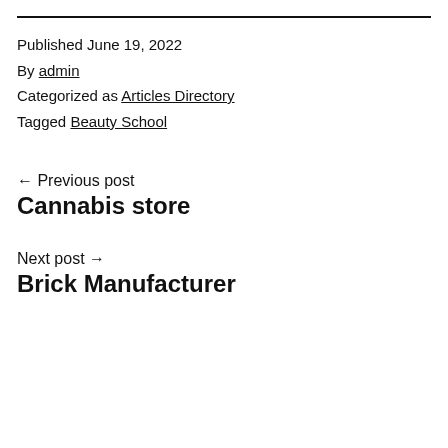Published June 19, 2022
By admin
Categorized as Articles Directory
Tagged Beauty School
← Previous post
Cannabis store
Next post →
Brick Manufacturer